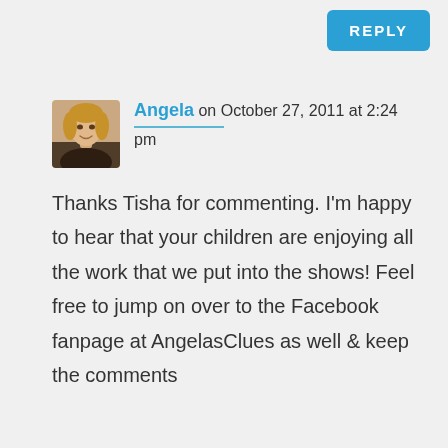REPLY
[Figure (photo): Avatar photo of Angela, a woman with blonde hair]
Angela on October 27, 2011 at 2:24 pm
Thanks Tisha for commenting. I'm happy to hear that your children are enjoying all the work that we put into the shows! Feel free to jump on over to the Facebook fanpage at AngelasClues as well & keep the comments